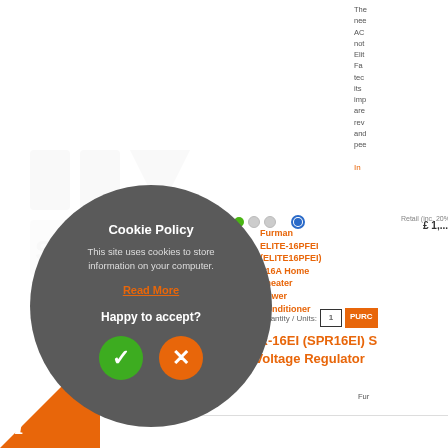The need AC not Elite Fa tec its imp are rev and pee
In
Availability   Retail (inc. 20%
Furman ELITE-16PFEI (ELITE16PFEI) - 16A Home Theater Power Conditioner
£ 1,...
Quantity / Units: 1 PURC
Furman SPR-16EI (SPR16EI) S Power AC Voltage Regulator
Fur
[Figure (other): Cookie Policy modal overlay on a dark rounded rectangle/circle background. Contains title 'Cookie Policy', body text 'This site uses cookies to store information on your computer.', a 'Read More' link in orange, text 'Happy to accept?' and two circular buttons: a green checkmark button and an orange X button.]
[Figure (other): Orange triangle in the bottom-left corner with a white italic 'i' letter on top, forming an information/brand badge.]
[Figure (other): Faded watermark logo in the background (partial product/company logo).]